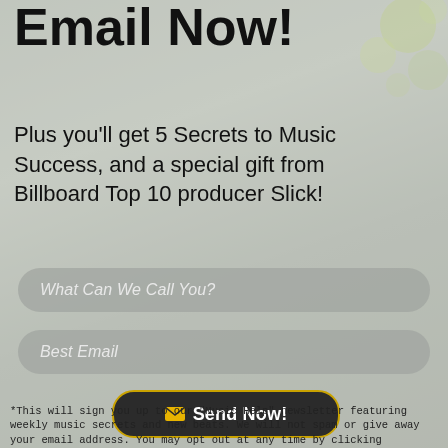Email Now!
Plus you'll get 5 Secrets to Music Success, and a special gift from Billboard Top 10 producer Slick!
What Can We Call You?
Best Email
Send Now!
*This will sign you up to our "Music Help" newsletter featuring weekly music secrets and new beats. We will not spam or give away your email address. You may opt out at any time by clicking "Unsubscribe" in future emails. If you are not first confirmed, please also check your BPM...